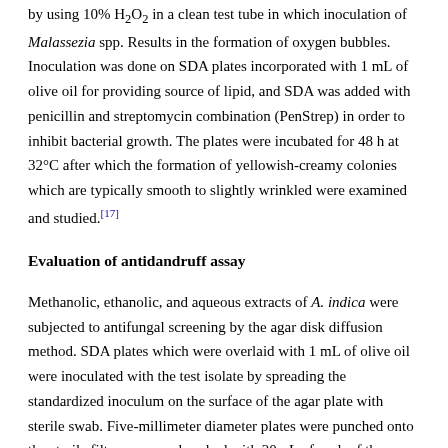by using 10% H2O2 in a clean test tube in which inoculation of Malassezia spp. Results in the formation of oxygen bubbles. Inoculation was done on SDA plates incorporated with 1 mL of olive oil for providing source of lipid, and SDA was added with penicillin and streptomycin combination (PenStrep) in order to inhibit bacterial growth. The plates were incubated for 48 h at 32°C after which the formation of yellowish-creamy colonies which are typically smooth to slightly wrinkled were examined and studied.[17]
Evaluation of antidandruff assay
Methanolic, ethanolic, and aqueous extracts of A. indica were subjected to antifungal screening by the agar disk diffusion method. SDA plates which were overlaid with 1 mL of olive oil were inoculated with the test isolate by spreading the standardized inoculum on the surface of the agar plate with sterile swab. Five-millimeter diameter plates were punched onto the sterile filter paper and soaked with 20 µL of each of the extract solutions at 100 mg/mL concentration. Fluconazole disc (40 mg/mL) is used as positive control and 10% dimethyl sulfoxide (DMSO)-containing disk alone was used as a negative control for antifungal assay. The disks were dried for 7 h and placed onto the agar plates. The incubation was done at 32°C for 48 h due to optimum growth temperature for